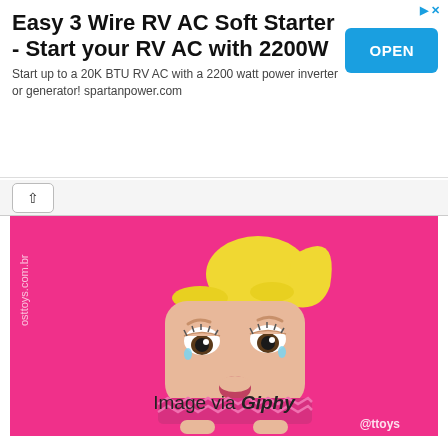Easy 3 Wire RV AC Soft Starter - Start your RV AC with 2200W
Start up to a 20K BTU RV AC with a 2200 watt power inverter or generator! spartanpower.com
[Figure (illustration): Cartoon square-shaped character with blonde ponytail, tired/sad face with tears, wearing a pink zigzag sweater, on bright pink background. Watermark text 'osttoys.com.br' on left side and '@ttoys' bottom right.]
Image via Giphy